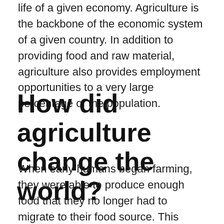life of a given economy. Agriculture is the backbone of the economic system of a given country. In addition to providing food and raw material, agriculture also provides employment opportunities to a very large percentage of the population.
How did agriculture change the world?
When early humans began farming, they were able to produce enough food that they no longer had to migrate to their food source. This meant they could build permanent structures, and develop villages, towns, and eventually even cities. Closely connected to the rise of settled societies was